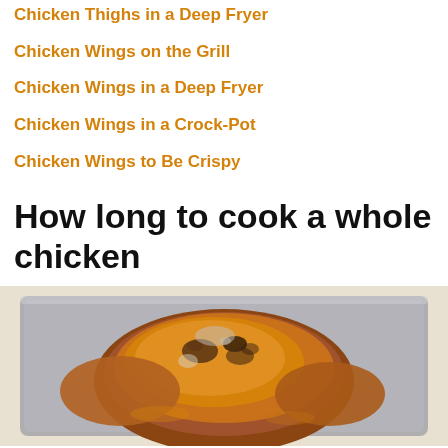Chicken Thighs in a Deep Fryer
Chicken Wings on the Grill
Chicken Wings in a Deep Fryer
Chicken Wings in a Crock-Pot
Chicken Wings to Be Crispy
How long to cook a whole chicken
[Figure (photo): A roasted whole chicken in a baking pan, golden-brown with herbs and seasoning on top, viewed from above at a slight angle]